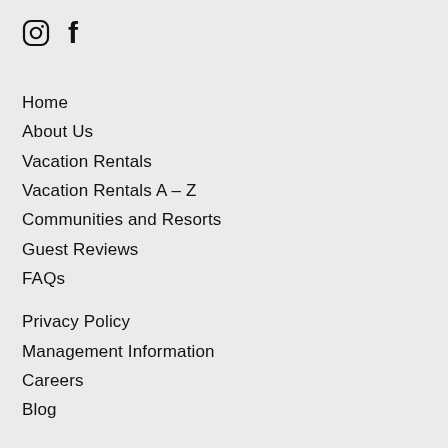[Figure (illustration): Social media icons: Instagram circle icon and Facebook 'f' icon]
Home
About Us
Vacation Rentals
Vacation Rentals A – Z
Communities and Resorts
Guest Reviews
FAQs
Privacy Policy
Management Information
Careers
Blog